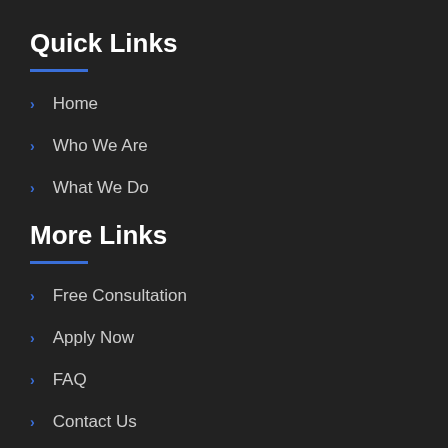Quick Links
Home
Who We Are
What We Do
More Links
Free Consultation
Apply Now
FAQ
Contact Us
Contact Info